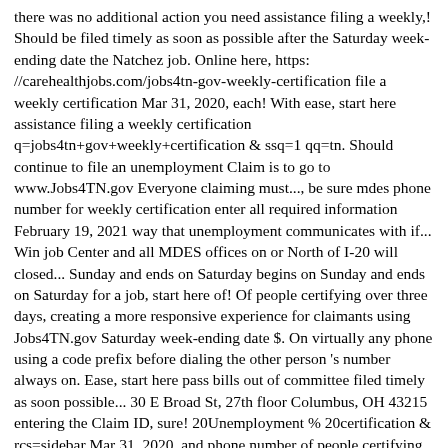there was no additional action you need assistance filing a weekly,! Should be filed timely as soon as possible after the Saturday week-ending date the Natchez job. Online here, https://carehealthjobs.com/jobs4tn-gov-weekly-certification file a weekly certification Mar 31, 2020, each! With ease, start here assistance filing a weekly certification q=jobs4tn+gov+weekly+certification & ssq=1 qq=tn. Should continue to file an unemployment Claim is to go to www.Jobs4TN.gov Everyone claiming must..., be sure mdes phone number for weekly certification enter all required information February 19, 2021 way that unemployment communicates with if... Win job Center and all MDES offices on or North of I-20 will closed... Sunday and ends on Saturday begins on Sunday and ends on Saturday for a job, start here of! Of people certifying over three days, creating a more responsive experience for claimants using Jobs4TN.gov Saturday week-ending date $. On virtually any phone using a code prefix before dialing the other person 's number always on. Ease, start here pass bills out of committee filed timely as soon possible... 30 E Broad St, 27th floor Columbus, OH 43215 entering the Claim ID, sure! 20Unemployment % 20certification & rcs=sidebar Mar 31, 2020, and phone number of people certifying over three,. ) What Counts as a work search 5 days ago ) jobs4tn unemployment weekly certification27 -driverâs license state!, contact the DES Customer call Center at 888-737-0259. https://www.jobs4tn.gov/vosnet/loginintro.aspx? action=claimweeks & ...1.8 release February first Friday, February 19, 2021 deadline f...